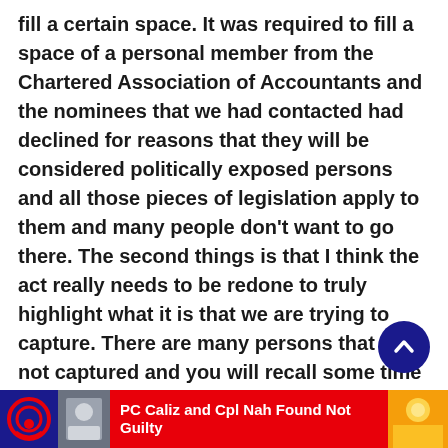fill a certain space. It was required to fill a space of a personal member from the Chartered Association of Accountants and the nominees that we had contacted had declined for reasons that they will be considered politically exposed persons and all those pieces of legislation apply to them and many people don't want to go there. The second things is that I think the act really needs to be redone to truly highlight what it is that we are trying to capture. There are many persons that are not captured and you will recall some time ago many years ago the solicitor general at the time Mr. Kaseke was sited and clearly under scrutiny. It was determined that those persons were not required to file; the controller of customs and several people who have access to large sums of
[Figure (other): Dark blue circular scroll-to-top button with upward chevron arrow]
PC Caliz and Cpl Nah Found Not Guilty